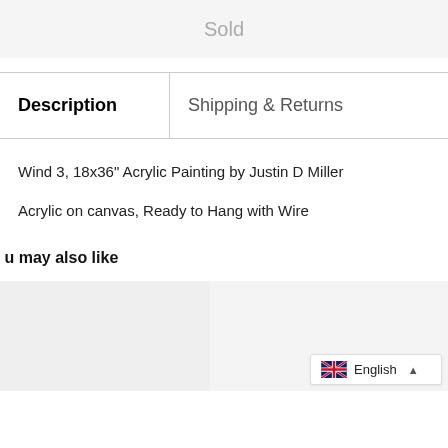Sold
Description	Shipping & Returns
Wind 3, 18x36" Acrylic Painting by Justin D Miller
Acrylic on canvas, Ready to Hang with Wire
u may also like
[Figure (other): Two product thumbnail images side by side, with a language selector widget showing English with UK flag]
English